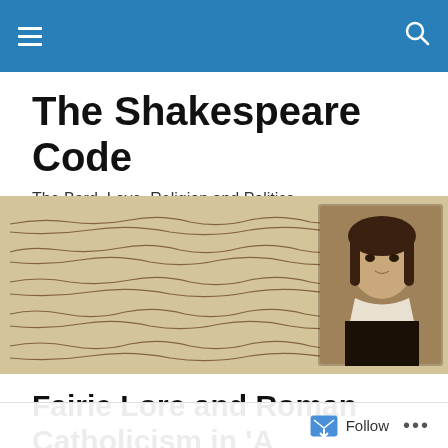Navigation bar with hamburger menu and search icon
The Shakespeare Code
The Bard, Love, Religion and Politics
[Figure (photo): Banner image showing old handwritten manuscript pages with cursive script, overlaid with a small portrait of Shakespeare at the right side]
Fairie Lore and Roman Catholicism in ‘A Midsummer Night’s Dream’, Part Four
Follow ...